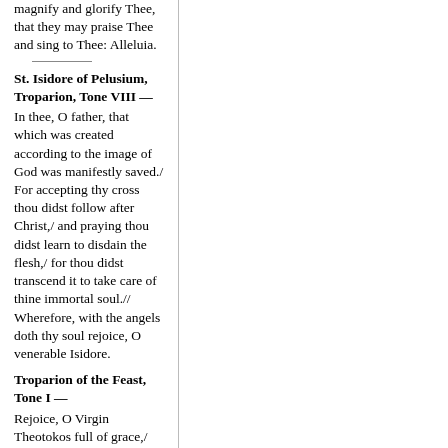magnify and glorify Thee, that they may praise Thee and sing to Thee: Alleluia.
St. Isidore of Pelusium, Troparion, Tone VIII —
In thee, O father, that which was created according to the image of God was manifestly saved./ For accepting thy cross thou didst follow after Christ,/ and praying thou didst learn to disdain the flesh,/ for thou didst transcend it to take care of thine immortal soul.// Wherefore, with the angels doth thy soul rejoice, O venerable Isidore.
Troparion of the Feast, Tone I —
Rejoice, O Virgin Theotokos full of grace,/ for from thee hath shone forth the Sun of Righteousness, Christ our God,/ enlightening them that are in darkness./ Be glad thou also, O righteous elder,/ who receivest in thine arms the Deliver of our souls,// Who granteth